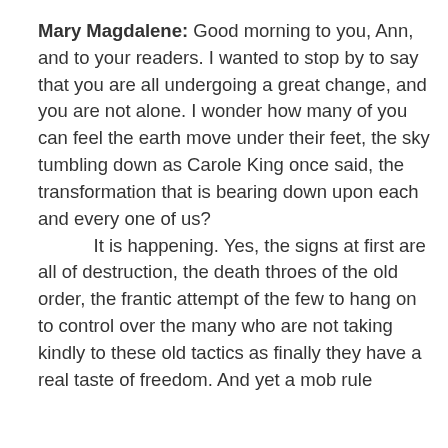Mary Magdalene: Good morning to you, Ann, and to your readers. I wanted to stop by to say that you are all undergoing a great change, and you are not alone. I wonder how many of you can feel the earth move under their feet, the sky tumbling down as Carole King once said, the transformation that is bearing down upon each and every one of us? It is happening. Yes, the signs at first are all of destruction, the death throes of the old order, the frantic attempt of the few to hang on to control over the many who are not taking kindly to these old tactics as finally they have a real taste of freedom. And yet a mob rule…